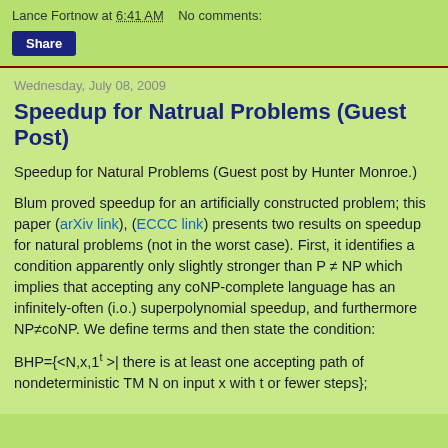Lance Fortnow at 6:41 AM    No comments:
Share
Wednesday, July 08, 2009
Speedup for Natrual Problems (Guest Post)
Speedup for Natural Problems (Guest post by Hunter Monroe.)
Blum proved speedup for an artificially constructed problem; this paper (arXiv link), (ECCC link) presents two results on speedup for natural problems (not in the worst case). First, it identifies a condition apparently only slightly stronger than P ≠ NP which implies that accepting any coNP-complete language has an infinitely-often (i.o.) superpolynomial speedup, and furthermore NP≠coNP. We define terms and then state the condition: